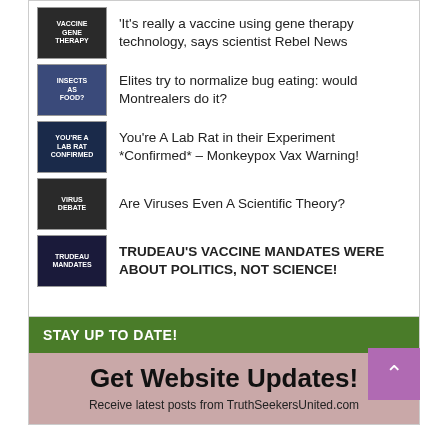It's really a vaccine using gene therapy technology, says scientist Rebel News
Elites try to normalize bug eating: would Montrealers do it?
You're A Lab Rat in their Experiment *Confirmed* – Monkeypox Vax Warning!
Are Viruses Even A Scientific Theory?
TRUDEAU'S VACCINE MANDATES WERE ABOUT POLITICS, NOT SCIENCE!
STAY UP TO DATE!
Get Website Updates!
Receive latest posts from TruthSeekersUnited.com